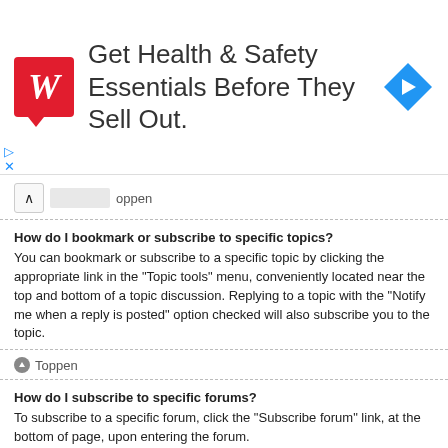[Figure (other): Walgreens advertisement banner: red Walgreens logo on left, text 'Get Health & Safety Essentials Before They Sell Out.' in center, blue diamond navigation icon on right]
Toppen
How do I bookmark or subscribe to specific topics?
You can bookmark or subscribe to a specific topic by clicking the appropriate link in the "Topic tools" menu, conveniently located near the top and bottom of a topic discussion. Replying to a topic with the "Notify me when a reply is posted" option checked will also subscribe you to the topic.
Toppen
How do I subscribe to specific forums?
To subscribe to a specific forum, click the "Subscribe forum" link, at the bottom of page, upon entering the forum.
Toppen